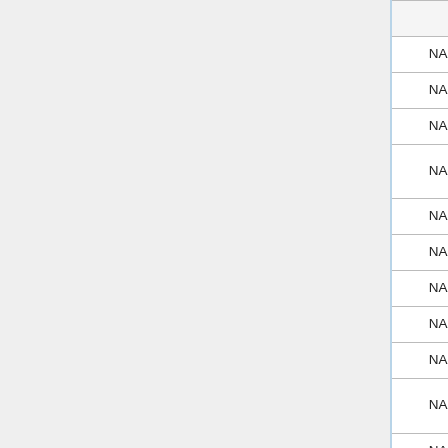| Card | Type | microdrive |
| --- | --- | --- |
| 64MB Nokia | microSD | NA |
| 512MB Kingston | microSD | NA |
| 1GB Apacer | microSD | NA |
| 1GB Kingston (SDC/1GB) | microSD | NA |
| 2GB Kingston | microSD | NA |
| 2GB Traxdata | microSD | NA |
| 4GB Apacer SDHC (class 6) | microSD | NA |
| 4GB Axiz | microSD | NA |
| 4GB Kingston | microSD | NA |
| 4GB Kingston SDHC (C04G JAPAN class 4) | microSD | NA |
| 4GB Maxell SDHC (class 2) P-series | microSD | NA |
| 4GB Transcend SDHC | microSD | NA |
| 4GB Sandisk Mobile Ultra Micro SDHC (with card | microSD | NA |